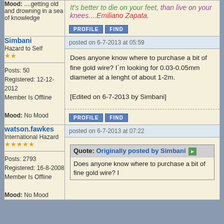Mood: ....getting old and drowning in a sea of knowledge
It's better to die on your feet, than live on your knees....Emiliano Zapata.
PROFILE  FIND
Simbani
Hazard to Self
**
Posts: 50
Registered: 12-12-2012
Member Is Offline
Mood: No Mood
posted on 6-7-2013 at 05:59
Does anyone know where to purchase a bit of fine gold wire? I´m looking for 0.03-0.05mm diameter at a lenght of about 1-2m.

[Edited on 6-7-2013 by Simbani]
PROFILE  FIND
watson.fawkes
International Hazard
*****
Posts: 2793
Registered: 16-8-2008
Member Is Offline
Mood: No Mood
posted on 6-7-2013 at 07:22
Quote: Originally posted by Simbani
Does anyone know where to purchase a bit of fine gold wire? I